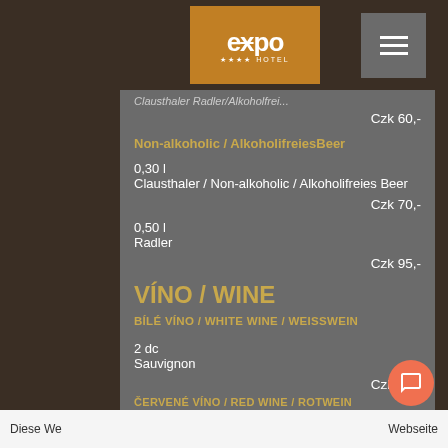[Figure (logo): Expo Hotel logo - orange/brown square with 'expo' text and '****HOTEL' subtitle below]
Czk 60,-
Non-alkoholic / AlkoholifreiesBeer
0,30 l
Clausthaler / Non-alkoholic / Alkoholifreies Beer
Czk 70,-
0,50 l
Radler
Czk 95,-
VÍNO / WINE
BÍLÉ VÍNO / WHITE WINE / WEISSWEIN
2 dc
Sauvignon
Czk 80,-
ČERVENÉ VÍNO / RED WINE / ROTWEIN
Diese We... Webseite